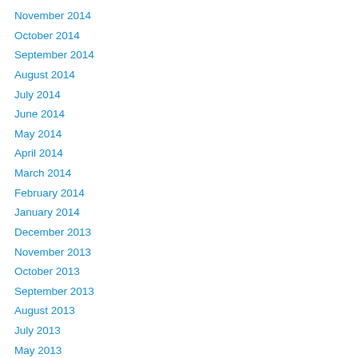November 2014
October 2014
September 2014
August 2014
July 2014
June 2014
May 2014
April 2014
March 2014
February 2014
January 2014
December 2013
November 2013
October 2013
September 2013
August 2013
July 2013
May 2013
April 2013